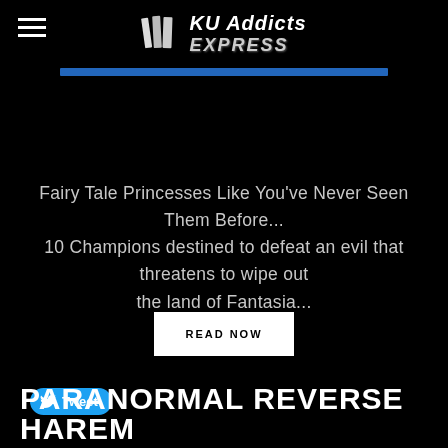KU Addicts EXPRESS
Fairy Tale Princesses Like You've Never Seen Them Before... 10 Champions destined to defeat an evil that threatens to wipe out the land of Fantasia...
READ NOW
Tweet
PARANORMAL REVERSE HAREM